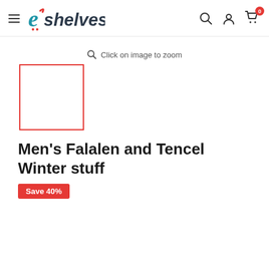eshelves
[Figure (screenshot): Zoom hint with magnifying glass icon and text 'Click on image to zoom']
[Figure (photo): Product thumbnail image placeholder with red border outline]
Men's Falalen and Tencel Winter stuff
Save 40%